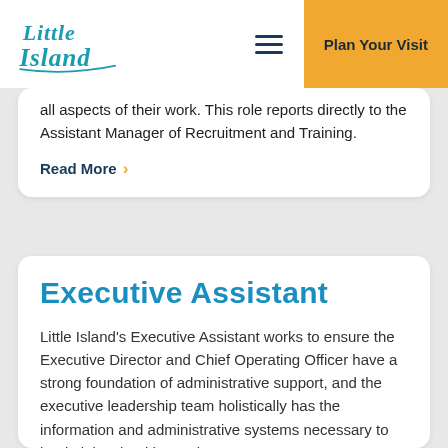[Figure (logo): Little Island cursive logo in teal/blue color]
Plan Your Visit
all aspects of their work. This role reports directly to the Assistant Manager of Recruitment and Training.
Read More
Executive Assistant
Little Island's Executive Assistant works to ensure the Executive Director and Chief Operating Officer have a strong foundation of administrative support, and the executive leadership team holistically has the information and administrative systems necessary to lead Little Island in service to